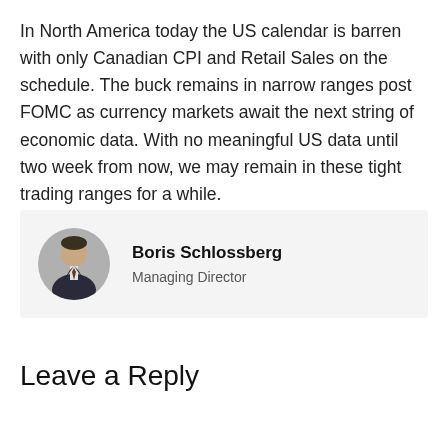In North America today the US calendar is barren with only Canadian CPI and Retail Sales on the schedule. The buck remains in narrow ranges post FOMC as currency markets await the next string of economic data. With no meaningful US data until two week from now, we may remain in these tight trading ranges for a while.
[Figure (photo): Circular profile photo of Boris Schlossberg, a man in a dark suit and tie, shown from the shoulders up against a light background. The photo is embedded in a light grey author card alongside his name and title.]
Boris Schlossberg
Managing Director
Leave a Reply